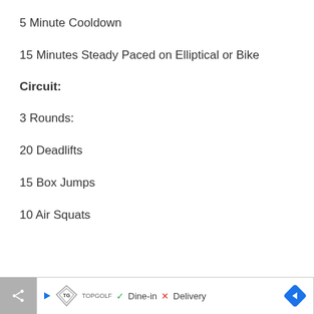5 Minute Cooldown
15 Minutes Steady Paced on Elliptical or Bike
Circuit:
3 Rounds:
20 Deadlifts
15 Box Jumps
10 Air Squats
Dine-in  Delivery  [TopGolf ad]